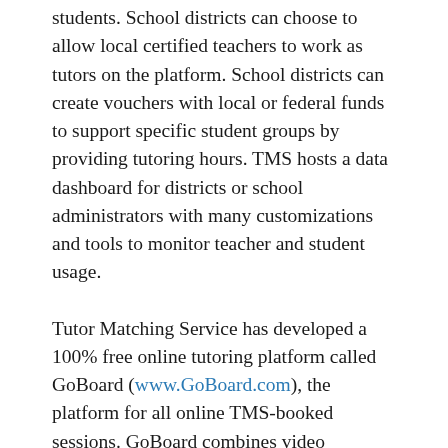students. School districts can choose to allow local certified teachers to work as tutors on the platform. School districts can create vouchers with local or federal funds to support specific student groups by providing tutoring hours. TMS hosts a data dashboard for districts or school administrators with many customizations and tools to monitor teacher and student usage.
Tutor Matching Service has developed a 100% free online tutoring platform called GoBoard (www.GoBoard.com), the platform for all online TMS-booked sessions. GoBoard combines video conferencing, an interactive work canvas, and educational tools like a graphing calculator, an equation editor, molecular bonds creator, and much more. TMS creates unique links to session-specific GoBoard rooms, giving tutors and students easy access to a workspace that saves their progress for